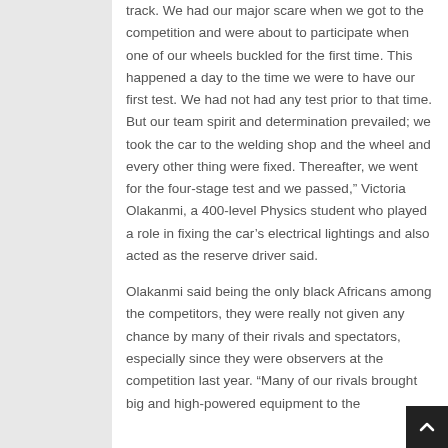track. We had our major scare when we got to the competition and were about to participate when one of our wheels buckled for the first time. This happened a day to the time we were to have our first test. We had not had any test prior to that time. But our team spirit and determination prevailed; we took the car to the welding shop and the wheel and every other thing were fixed. Thereafter, we went for the four-stage test and we passed,” Victoria Olakanmi, a 400-level Physics student who played a role in fixing the car’s electrical lightings and also acted as the reserve driver said.
Olakanmi said being the only black Africans among the competitors, they were really not given any chance by many of their rivals and spectators, especially since they were observers at the competition last year. “Many of our rivals brought big and high-powered equipment to the